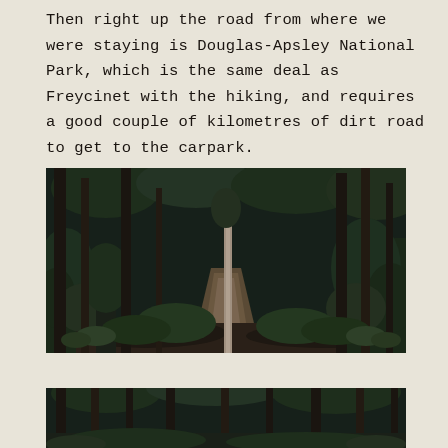Then right up the road from where we were staying is Douglas-Apsley National Park, which is the same deal as Freycinet with the hiking, and requires a good couple of kilometres of dirt road to get to the carpark.
[Figure (photo): A dirt path winding through a dense forest with tall dark trees and lush green undergrowth on both sides, moody dark tones]
[Figure (photo): Another forest scene with tall dark trees, similar moody atmosphere, partially visible at bottom of page]